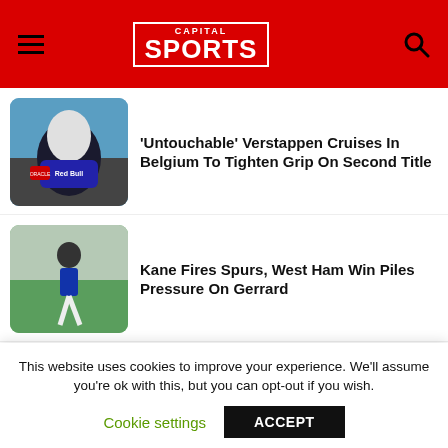CAPITAL SPORTS
'Untouchable' Verstappen Cruises In Belgium To Tighten Grip On Second Title
[Figure (photo): Racing driver in Red Bull helmet and gear celebrating]
Kane Fires Spurs, West Ham Win Piles Pressure On Gerrard
[Figure (photo): Football player kicking ball with crowd in background]
Shujaa Out Of Los Angeles 7s Cup Contention, Race To Fifth Place Play Off
[Figure (photo): Rugby players running on field]
This website uses cookies to improve your experience. We'll assume you're ok with this, but you can opt-out if you wish.
Cookie settings   ACCEPT